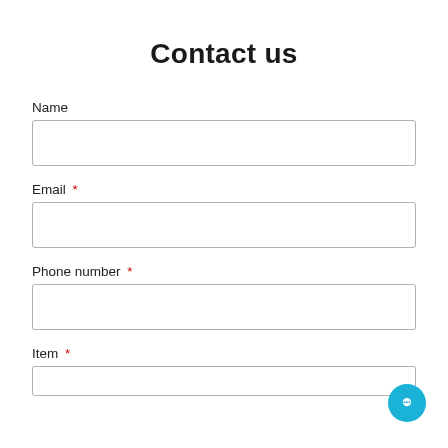Contact us
Name
Email *
Phone number *
Item *